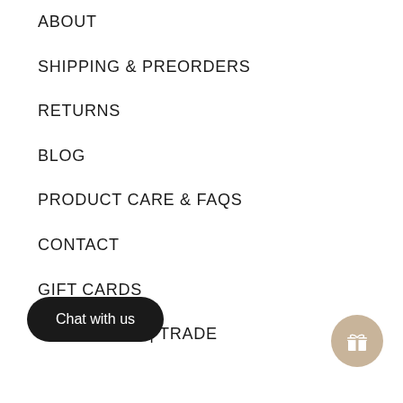ABOUT
SHIPPING & PREORDERS
RETURNS
BLOG
PRODUCT CARE & FAQs
CONTACT
GIFT CARDS
WHOLESALE | TRADE
Chat with us
[Figure (illustration): Gift/rewards button icon — circular beige button with white gift box icon]